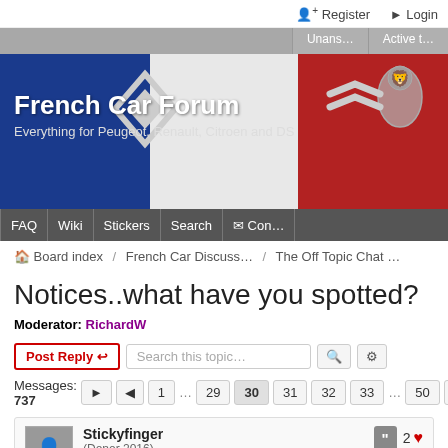Register  Login
[Figure (screenshot): French Car Forum banner with French flag background, Renault, Peugeot and Citroen logos. Text: French Car Forum - Everything for Peugeot, Renault, Citroen and DS]
FAQ  Wiki  Stickers  Search  Con...
Board index / French Car Discuss... / The Off Topic Chat ...
Notices..what have you spotted?
Moderator: RichardW
Post Reply  Search this topic...
Messages: 737  1 ... 29 30 31 32 33 ... 50
Stickyfinger
(Donor 2016)